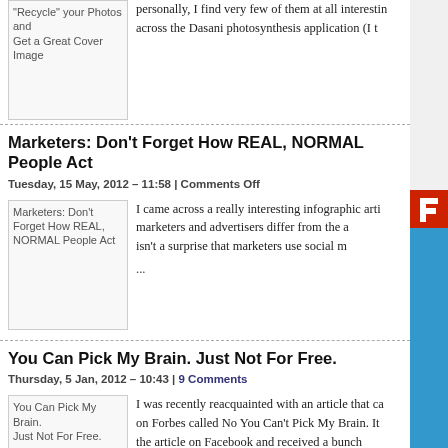[Figure (screenshot): Partial view of a blog listing page showing three article entries. Top partial article about 'Recycle your Photos and Get a Great Cover Image', middle article 'Marketers: Don't Forget How REAL, NORMAL People Act' dated Tuesday 15 May 2012, and bottom article 'You Can Pick My Brain. Just Not For Free.' dated Thursday 5 Jan 2012. Each article has a thumbnail image placeholder and excerpt text. A Flash plugin icon and blue sidebar bar are visible on the right edge.]
"Recycle" your Photos and Get a Great Cover Image
personally, I find very few of them at all interestin... across the Dasani photosynthesis application (I t...
Marketers: Don't Forget How REAL, NORMAL People Act
Tuesday, 15 May, 2012 – 11:58 | Comments Off
I came across a really interesting infographic arti... marketers and advertisers differ from the a... isn't a surprise that marketers use social m...
You Can Pick My Brain. Just Not For Free.
Thursday, 5 Jan, 2012 – 10:43 | 9 Comments
I was recently reacquainted with an article that ca... on Forbes called No You Can't Pick My Brain. It... the article on Facebook and received a bunch...